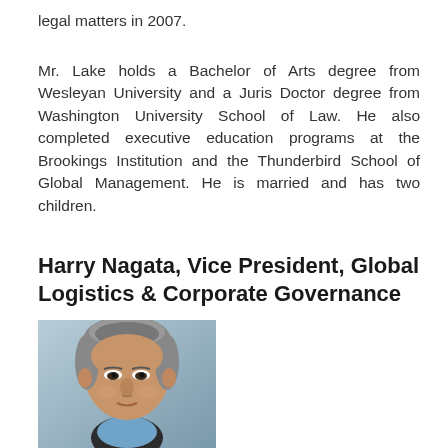legal matters in 2007.
Mr. Lake holds a Bachelor of Arts degree from Wesleyan University and a Juris Doctor degree from Washington University School of Law. He also completed executive education programs at the Brookings Institution and the Thunderbird School of Global Management. He is married and has two children.
Harry Nagata, Vice President, Global Logistics & Corporate Governance
[Figure (photo): Headshot photo of Harry Nagata, an older Asian man with gray hair, wearing a dark jacket and light blue shirt, against a light blue-gray background.]